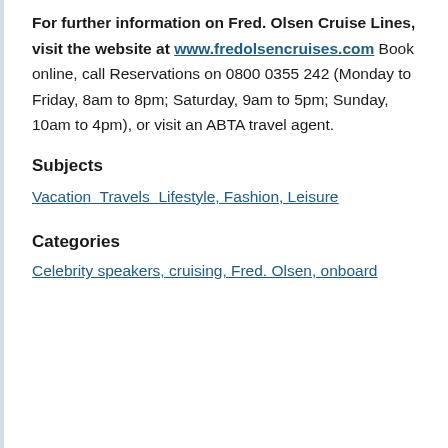For further information on Fred. Olsen Cruise Lines, visit the website at www.fredolsencruises.com Book online, call Reservations on 0800 0355 242 (Monday to Friday, 8am to 8pm; Saturday, 9am to 5pm; Sunday, 10am to 4pm), or visit an ABTA travel agent.
Subjects
Vacation Travels Lifestyle, Fashion, Leisure
Categories
Celebrity speakers, cruising, Fred. Olsen, onboard